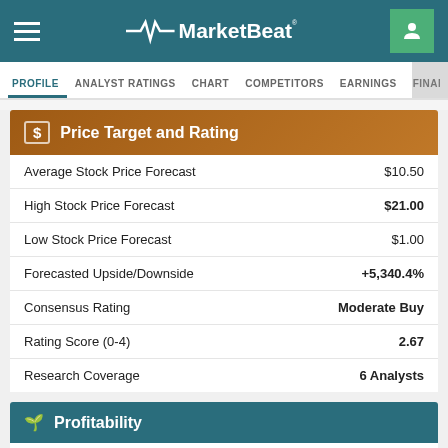MarketBeat
PROFILE | ANALYST RATINGS | CHART | COMPETITORS | EARNINGS | FINANCIAL
$ Price Target and Rating
|  |  |
| --- | --- |
| Average Stock Price Forecast | $10.50 |
| High Stock Price Forecast | $21.00 |
| Low Stock Price Forecast | $1.00 |
| Forecasted Upside/Downside | +5,340.4% |
| Consensus Rating | Moderate Buy |
| Rating Score (0-4) | 2.67 |
| Research Coverage | 6 Analysts |
Profitability
|  |  |
| --- | --- |
| EPS (Most Recent Fiscal Year) | ($0.78) |
| Trailing P/E Ratio | N/A |
| Forward P/E Ratio | N/A |